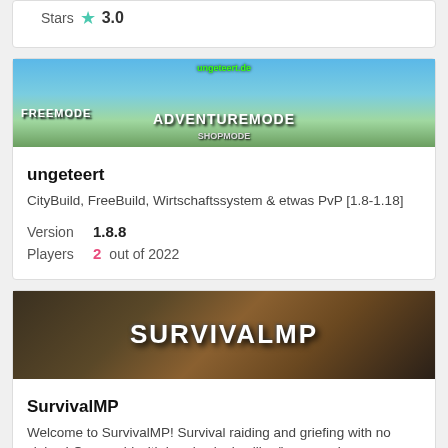Stars 3.0
[Figure (screenshot): ungeteert Minecraft server banner showing FREEMODE, ADVENTUREMODE, SHOPMODE text on a fantasy landscape background with ungeteert.de logo]
ungeteert
CityBuild, FreeBuild, Wirtschaftssystem & etwas PvP [1.8-1.18]
Version 1.8.8
Players 2 out of 2022
[Figure (screenshot): SurvivalMP Minecraft server banner with large white block letters SURVIVALMP on dark stone background]
SurvivalMP
Welcome to SurvivalMP! Survival raiding and griefing with no claims! One world with handy plugins like /home and more
Version 1.19.2
Players 14 out of 75